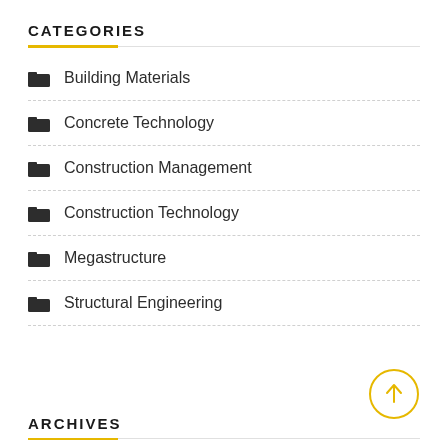CATEGORIES
Building Materials
Concrete Technology
Construction Management
Construction Technology
Megastructure
Structural Engineering
ARCHIVES